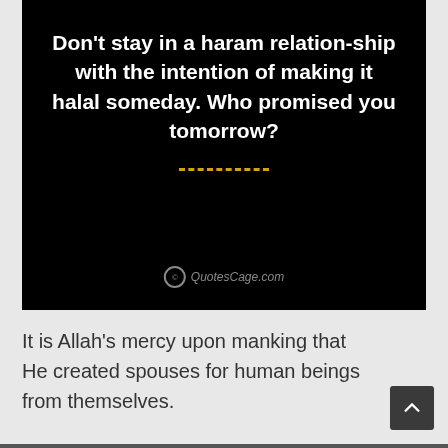[Figure (illustration): Black background image with white bold text displaying an Islamic quote about haram relationships, a yellow dashed divider line, and a QuotesCage.com watermark.]
It is Allah's mercy upon manking that He created spouses for human beings from themselves.